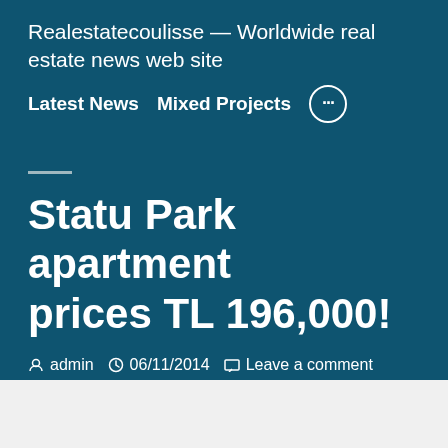Realestatecoulisse — Worldwide real estate news web site
Latest News   Mixed Projects   •••
Statu Park apartment prices TL 196,000!
admin   06/11/2014   Leave a comment